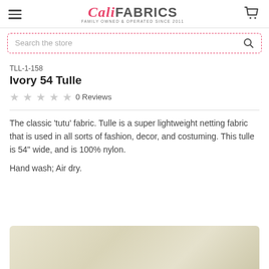Cali Fabrics — Family Owned & Operated Since 2011
Search the store
TLL-1-158
Ivory 54 Tulle
0 Reviews
The classic 'tutu' fabric. Tulle is a super lightweight netting fabric that is used in all sorts of fashion, decor, and costuming. This tulle is 54" wide, and is 100% nylon.
Hand wash; Air dry.
[Figure (photo): Close-up photo of ivory/cream colored tulle fabric swatch]